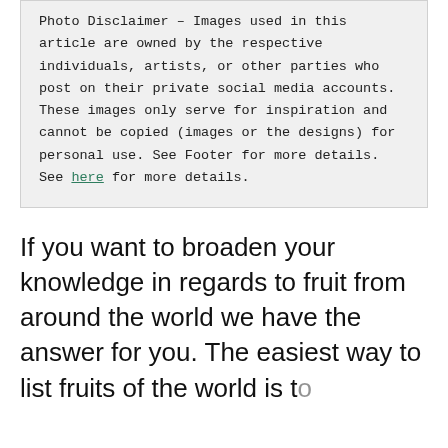Photo Disclaimer – Images used in this article are owned by the respective individuals, artists, or other parties who post on their private social media accounts. These images only serve for inspiration and cannot be copied (images or the designs) for personal use. See Footer for more details. See here for more details.
If you want to broaden your knowledge in regards to fruit from around the world we have the answer for you. The easiest way to list fruits of the world is to...